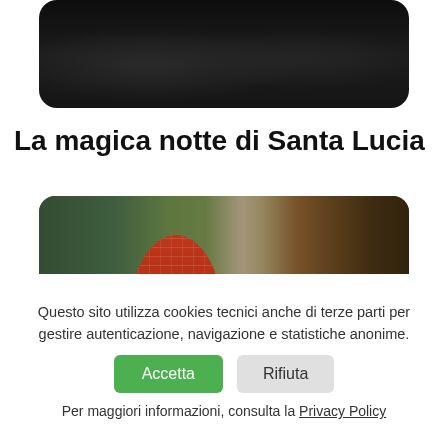[Figure (photo): Dark photograph showing what appears to be people seated in a dimly lit interior space]
La magica notte di Santa Lucia
[Figure (photo): Outdoor photograph showing people wearing masks near a tent-like structure with brick arch decoration, in front of a gate]
Questo sito utilizza cookies tecnici anche di terze parti per gestire autenticazione, navigazione e statistiche anonime.
Accetta | Rifiuta
Per maggiori informazioni, consulta la Privacy Policy